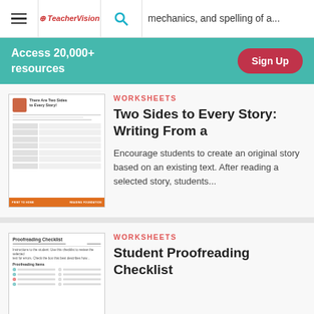mechanics, and spelling of a...
Access 20,000+ resources
Sign Up
WORKSHEETS
Two Sides to Every Story: Writing From a
Encourage students to create an original story based on an existing text. After reading a selected story, students...
[Figure (illustration): Thumbnail of worksheet titled 'There Are Two Sides to Every Story!' with a table layout and an orange footer bar.]
WORKSHEETS
Student Proofreading Checklist
[Figure (illustration): Thumbnail of a 'Proofreading Checklist' worksheet with checkboxes and rows of items.]